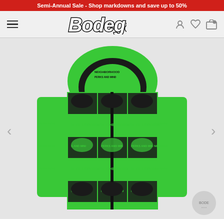Semi-Annual Sale - Shop markdowns and save up to 50%
[Figure (logo): Bodega store logo in bold italic black-stroked white text]
[Figure (photo): Green and black all-over print hoodie with NEIGHBORHOOD and PERKS AND MIND text pattern, featuring eyes/panther graphic motif, zip-up style with hood]